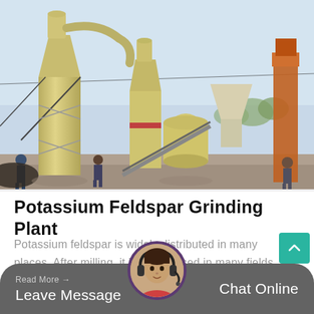[Figure (photo): Industrial potassium feldspar grinding plant with large yellow cyclone separators, grinding mills, conveyors, and an orange elevator structure. Workers visible in the foreground. Outdoor industrial setting with trees in background.]
Potassium Feldspar Grinding Plant
Potassium feldspar is widely distributed in many places. After milling, it is widely used in many fields such as glass, ceramic, ceramic body, glass flux,...
Read More → Leave Message   Chat Online